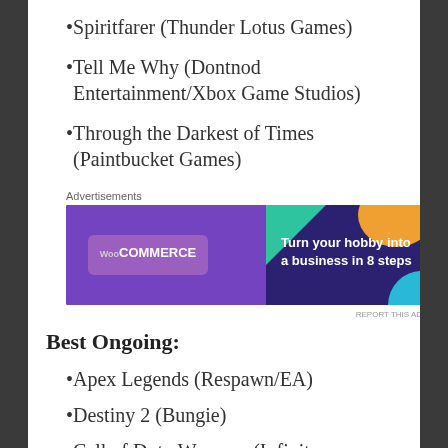Spiritfarer (Thunder Lotus Games)
Tell Me Why (Dontnod Entertainment/Xbox Game Studios)
Through the Darkest of Times (Paintbucket Games)
[Figure (other): WooCommerce advertisement banner: purple background with teal and orange decorative shapes, WooCommerce logo on left, text 'Turn your hobby into a business in 8 steps' on right]
Best Ongoing:
Apex Legends (Respawn/EA)
Destiny 2 (Bungie)
Call of Duty Warzone (Infinity Ward/Activision)
Fortnite (Epic Games)